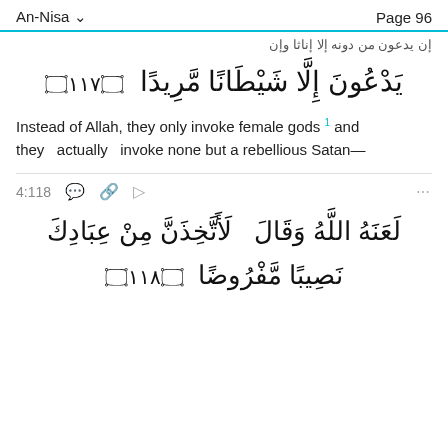An-Nisa    Page 96
إن يدعون من دونه إلا إناثا وإن
يَدْعُونَ إِلَّا شَيْطَانًا مَّرِيدًا ﴿١١٧﴾
Instead of Allah, they only invoke female gods ¹ and they actually invoke none but a rebellious Satan—
4:118
لَعَنَهُ اللَّهُ وَقَالَ لَأَتَّخِذَنَّ مِنْ عِبَادِكَ
نَصِيبًا مَّفْرُوضًا ﴿١١٨﴾